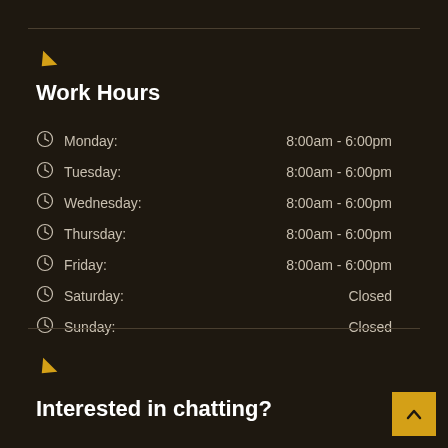Work Hours
Monday: 8:00am - 6:00pm
Tuesday: 8:00am - 6:00pm
Wednesday: 8:00am - 6:00pm
Thursday: 8:00am - 6:00pm
Friday: 8:00am - 6:00pm
Saturday: Closed
Sunday: Closed
Interested in chatting?